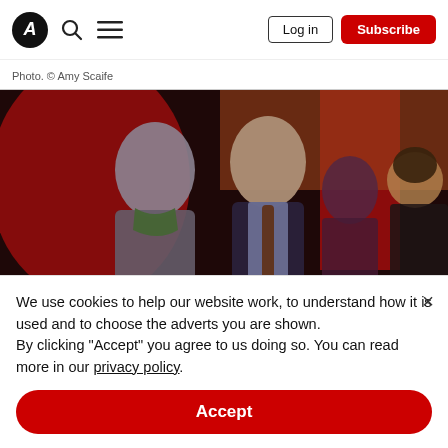A [logo] search menu | Log in | Subscribe
Photo. © Amy Scaife
[Figure (photo): Two men smiling at a formal event with red lighting in the background; a third man and a woman visible behind them.]
We use cookies to help our website work, to understand how it is used and to choose the adverts you are shown. By clicking "Accept" you agree to us doing so. You can read more in our privacy policy.
Accept